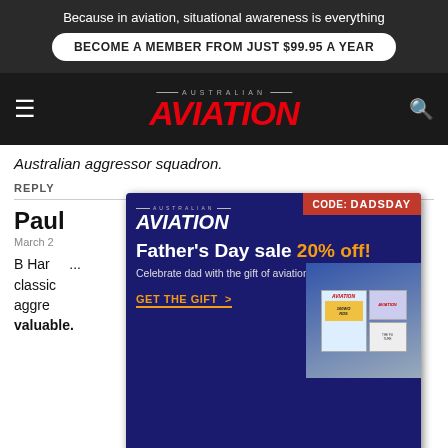Because in aviation, situational awareness is everything
BECOME A MEMBER FROM JUST $99.95 A YEAR
[Figure (logo): Australian Aviation magazine logo with red italic AVIATION text]
Australian aggressor squadron.
REPLY
Paul
March 2
B Har... 6-8 classic...US aggre... e valuable.
[Figure (screenshot): Father's Day sale popup advertisement for Australian Aviation magazine. CODE: DADSDAY badge in red. White text: Father's Day sale 20% off! Celebrate dad with the gift of aviation. GET THE GIFT > in orange. Magazine images on right.]
[Figure (screenshot): QinetiQ banner advertisement: Enabling critical UAS technologies, with drone/UAV image in background.]